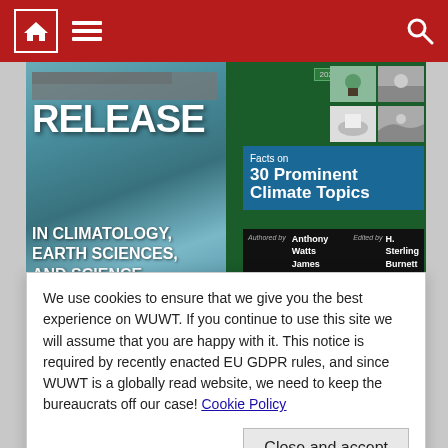Navigation bar with home, menu, and search icons
[Figure (photo): Book promotion image showing text 'RELEASE IN CLIMATOLOGY, EARTH SCIENCES, AND SCIENCE FOR KIDS' on a blue wood background alongside a book cover titled 'Facts on 30 Prominent Climate Topics, 2022 Edition' by Anthony Watts, James Taylor, edited by H. Sterling Burnett, with a green cover and photo collage of climate topics]
We use cookies to ensure that we give you the best experience on WUWT. If you continue to use this site we will assume that you are happy with it. This notice is required by recently enacted EU GDPR rules, and since WUWT is a globally read website, we need to keep the bureaucrats off our case! Cookie Policy
Close and accept